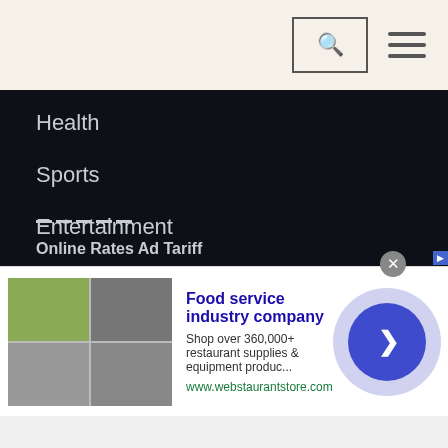Health
Sports
Entertainment
Others
— — — — —
Online Rates Ad Tariff
[Figure (other): Advertisement banner for Food service industry company (webstaurantstore.com) with product images on the left, ad text in the middle, and a circular arrow button on the right]